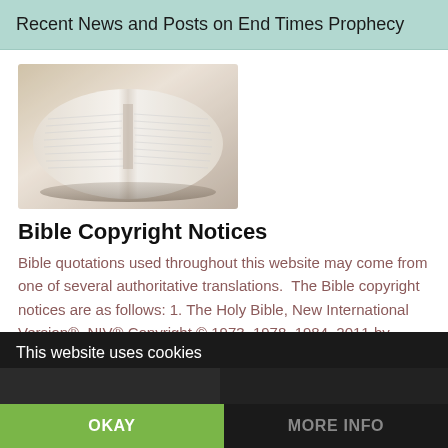Recent News and Posts on End Times Prophecy
[Figure (photo): An open Bible photographed from above, pages spread open, warm lighting with slight blur effect.]
Bible Copyright Notices
Bible quotations used throughout this website may come from one of several authoritative translations.  The Bible copyright notices are as follows: 1. The Holy Bible, New International Version®, NIV® Copyright © 1973, 1978, 1984, 2011 by Biblica, Inc.™ Used by permission. All rights reserved worldwide. 2. The New Scofield Reference Bible, Authorized King James Version. [...]
This website uses cookies
OKAY
MORE INFO